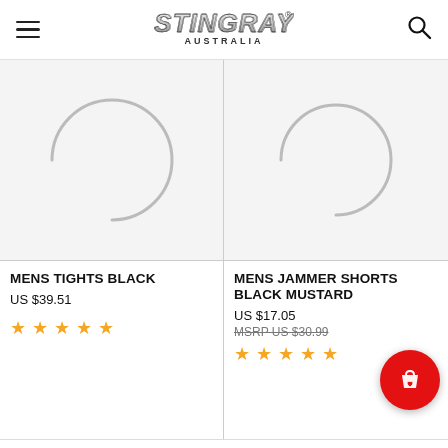STINGRAY AUSTRALIA
[Figure (photo): Loading spinner / placeholder circle arc for product image - MENS TIGHTS BLACK]
MENS TIGHTS BLACK
US $39.51
[Figure (photo): 5 gold stars rating for MENS TIGHTS BLACK]
[Figure (photo): Loading spinner / placeholder circle arc for product image - MENS JAMMER SHORTS BLACK MUSTARD]
MENS JAMMER SHORTS BLACK MUSTARD
US $17.05
MSRP US $30.99
[Figure (photo): 5 gold stars rating for MENS JAMMER SHORTS BLACK MUSTARD]
[Figure (illustration): Red circular floating action button with shopping bag and heart icon]